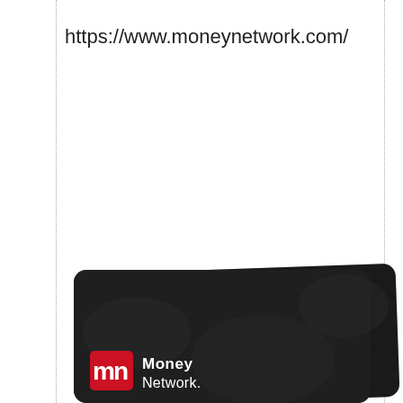https://www.moneynetwork.com/
[Figure (photo): Money Network prepaid debit card — dark/black card with Money Network logo (red square with white 'mn' letters) and white 'Money Network.' text, shown slightly fanned with two cards stacked.]